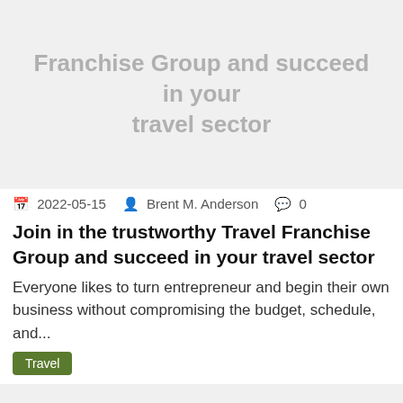[Figure (other): Gray card background with partial article title text: 'Franchise Group and succeed in your travel sector']
2022-05-15  Brent M. Anderson  0
Join in the trustworthy Travel Franchise Group and succeed in your travel sector
Everyone likes to turn entrepreneur and begin their own business without compromising the budget, schedule, and...
Travel
[Figure (other): Gray card background with article title text: 'The Power of CBD Lotion-Why You Need It' and reCAPTCHA badge in bottom-right corner]